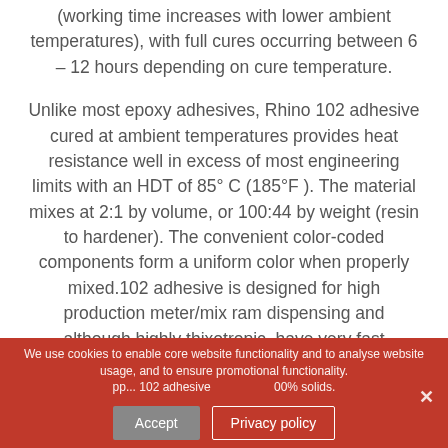(working time increases with lower ambient temperatures), with full cures occurring between 6 – 12 hours depending on cure temperature.
Unlike most epoxy adhesives, Rhino 102 adhesive cured at ambient temperatures provides heat resistance well in excess of most engineering limits with an HDT of 85° C (185°F ). The material mixes at 2:1 by volume, or 100:44 by weight (resin to hardener). The convenient color-coded components form a uniform color when properly mixed.102 adhesive is designed for high production meter/mix ram dispensing and although highly thixotropic, have very fast ... 102 adhesive ... 00% solids.
We use cookies to enable core website functionality and to analyse website usage, and to ensure promotional functionality. Accept | Privacy policy ×